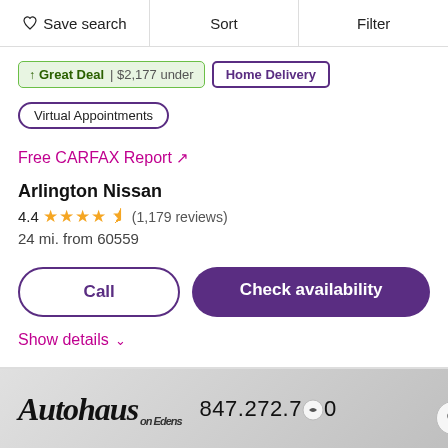Save search  Sort  Filter
Great Deal | $2,177 under  Home Delivery  Virtual Appointments
Free CARFAX Report ↗
Arlington Nissan
4.4 ★★★★½ (1,179 reviews)
24 mi. from 60559
Call  Check availability
Show details ∨
[Figure (photo): Autohaus on Edens dealership banner with logo and phone number 847.272.7000]